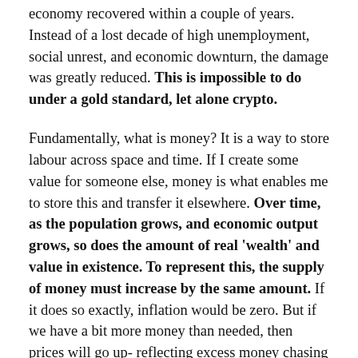economy recovered within a couple of years. Instead of a lost decade of high unemployment, social unrest, and economic downturn, the damage was greatly reduced. This is impossible to do under a gold standard, let alone crypto.
Fundamentally, what is money? It is a way to store labour across space and time. If I create some value for someone else, money is what enables me to store this and transfer it elsewhere. Over time, as the population grows, and economic output grows, so does the amount of real 'wealth' and value in existence. To represent this, the supply of money must increase by the same amount. If it does so exactly, inflation would be zero. But if we have a bit more money than needed, then prices will go up- reflecting excess money chasing fewer goods. If we have less money than needed, prices will